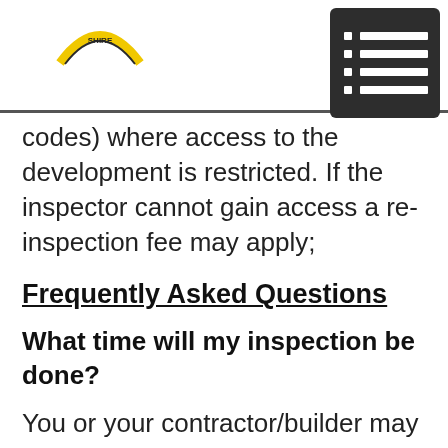Shire logo and navigation menu
codes) where access to the development is restricted. If the inspector cannot gain access a re-inspection fee may apply;
Frequently Asked Questions
What time will my inspection be done?
You or your contractor/builder may name a time for the inspection however please be aware